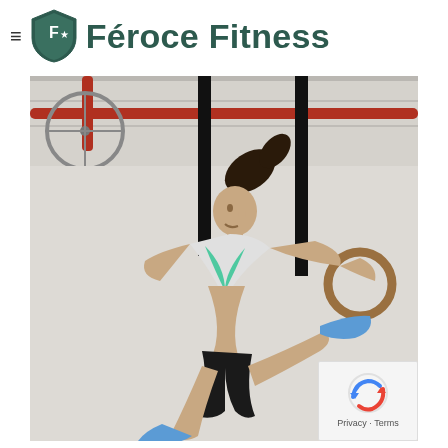Féroce Fitness
[Figure (photo): Athletic woman performing gymnastics rings exercise in a CrossFit gym, wearing teal sports bra and black shorts, with dramatic hair movement, industrial ceiling with red pipes in background]
[Figure (logo): reCAPTCHA privacy badge with Privacy and Terms text]